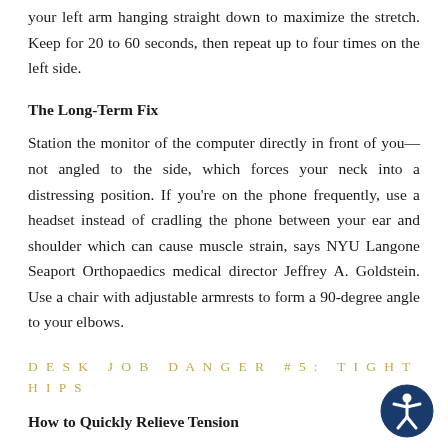your left arm hanging straight down to maximize the stretch. Keep for 20 to 60 seconds, then repeat up to four times on the left side.
The Long-Term Fix
Station the monitor of the computer directly in front of you— not angled to the side, which forces your neck into a distressing position. If you're on the phone frequently, use a headset instead of cradling the phone between your ear and shoulder which can cause muscle strain, says NYU Langone Seaport Orthopaedics medical director Jeffrey A. Goldstein. Use a chair with adjustable armrests to form a 90-degree angle to your elbows.
DESK JOB DANGER #5: TIGHT HIPS
How to Quickly Relieve Tension